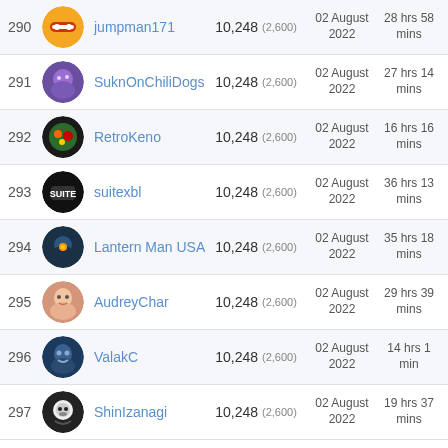| Rank | Avatar | Username | Score | Bonus | Date | Time |
| --- | --- | --- | --- | --- | --- | --- |
| 290 |  | jumpman171 | 10,248 | (2,600) | 02 August 2022 | 28 hrs 58 mins |
| 291 |  | SuknOnChiliDogs | 10,248 | (2,600) | 02 August 2022 | 27 hrs 14 mins |
| 292 |  | RetroKeno | 10,248 | (2,600) | 02 August 2022 | 16 hrs 16 mins |
| 293 |  | suitexbl | 10,248 | (2,600) | 02 August 2022 | 36 hrs 13 mins |
| 294 |  | Lantern Man USA | 10,248 | (2,600) | 02 August 2022 | 35 hrs 18 mins |
| 295 |  | AudreyChar | 10,248 | (2,600) | 02 August 2022 | 29 hrs 39 mins |
| 296 |  | ValakC | 10,248 | (2,600) | 02 August 2022 | 14 hrs 1 min |
| 297 |  | ShinIzanagi | 10,248 | (2,600) | 02 August 2022 | 19 hrs 37 mins |